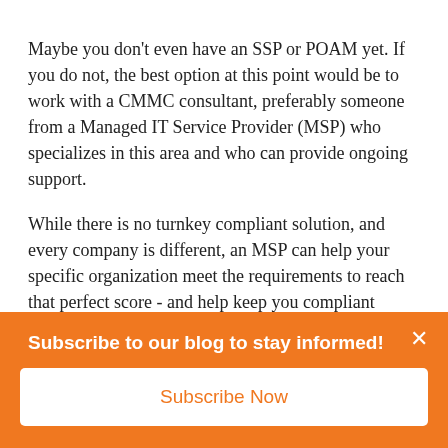Maybe you don’t even have an SSP or POAM yet. If you do not, the best option at this point would be to work with a CMMC consultant, preferably someone from a Managed IT Service Provider (MSP) who specializes in this area and who can provide ongoing support.
While there is no turnkey compliant solution, and every company is different, an MSP can help your specific organization meet the requirements to reach that perfect score - and help keep you compliant moving forward.
Subscribe to our blog to stay informed!
Subscribe Now